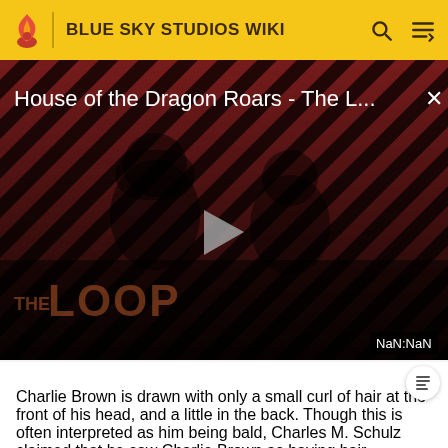BLUE SKY STUDIOS WIKI
[Figure (screenshot): Video player showing 'House of the Dragon Roars - The L...' with a play button, diagonal red and black striped background, silhouetted figures, 'THE LOOP' text watermark, and NaN:NaN timestamp]
Charlie Brown is drawn with only a small curl of hair at the front of his head, and a little in the back. Though this is often interpreted as him being bald, Charles M. Schulz claimed that he saw Charlie Brown as having hair